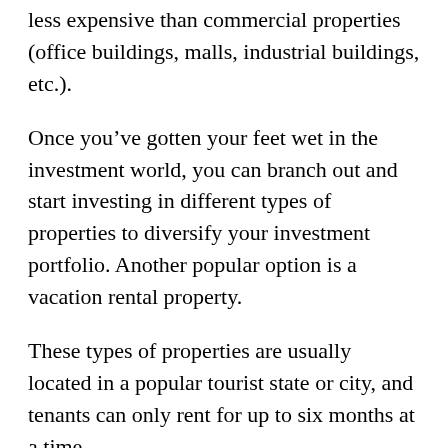less expensive than commercial properties (office buildings, malls, industrial buildings, etc.).
Once you've gotten your feet wet in the investment world, you can branch out and start investing in different types of properties to diversify your investment portfolio. Another popular option is a vacation rental property.
These types of properties are usually located in a popular tourist state or city, and tenants can only rent for up to six months at a time.
Keep in mind that as a property owner renting to tenants, you're also considered to be the landlord. Make sure you're ready to assume the responsibilities of a landlord if you decide to go this route, or that you're willing to hire a property manager to help you